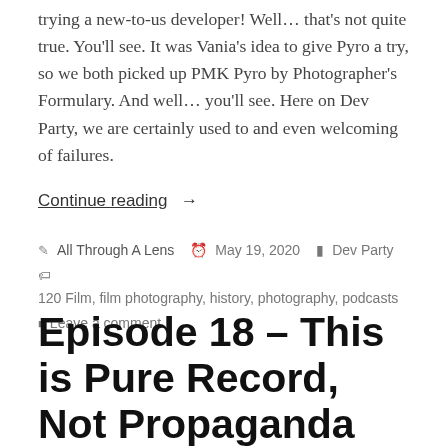trying a new-to-us developer! Well… that's not quite true. You'll see. It was Vania's idea to give Pyro a try, so we both picked up PMK Pyro by Photographer's Formulary. And well… you'll see. Here on Dev Party, we are certainly used to and even welcoming of failures.
Continue reading →
All Through A Lens  May 19, 2020  Dev Party  120 Film, film photography, history, photography, podcasts  Leave a comment
Episode 18 – This is Pure Record, Not Propaganda